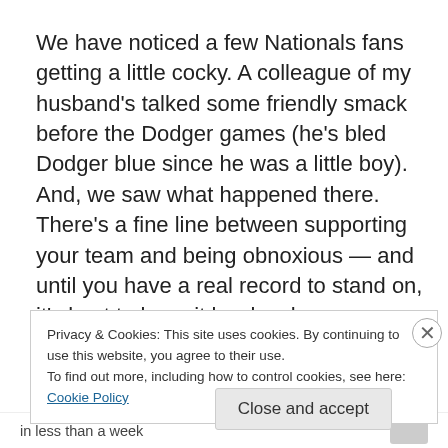We have noticed a few Nationals fans getting a little cocky. A colleague of my husband's talked some friendly smack before the Dodger games (he's bled Dodger blue since he was a little boy). And, we saw what happened there. There's a fine line between supporting your team and being obnoxious — and until you have a real record to stand on, it's best to keep it low key because as any sports
Privacy & Cookies: This site uses cookies. By continuing to use this website, you agree to their use.
To find out more, including how to control cookies, see here: Cookie Policy
Close and accept
in less than a week